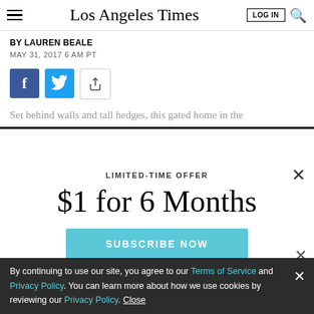Los Angeles Times
BY LAUREN BEALE
MAY 31, 2017  6 AM PT
Set behind walls and tall hedges, this gated home in the
LIMITED-TIME OFFER
$1 for 6 Months
SUBSCRIBE NOW
By continuing to use our site, you agree to our Terms of Service and Privacy Policy. You can learn more about how we use cookies by reviewing our Privacy Policy. Close